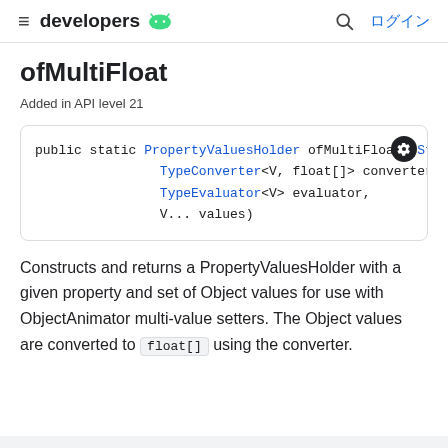developers  ログイン
ofMultiFloat
Added in API level 21
public static PropertyValuesHolder ofMultiFloat (Str
                TypeConverter<V, float[]> converter,
                TypeEvaluator<V> evaluator,
                V... values)
Constructs and returns a PropertyValuesHolder with a given property and set of Object values for use with ObjectAnimator multi-value setters. The Object values are converted to float[] using the converter.